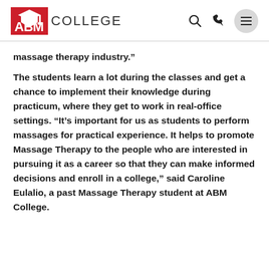ABM COLLEGE
massage therapy industry.”
The students learn a lot during the classes and get a chance to implement their knowledge during practicum, where they get to work in real-office settings. “It’s important for us as students to perform massages for practical experience. It helps to promote Massage Therapy to the people who are interested in pursuing it as a career so that they can make informed decisions and enroll in a college,” said Caroline Eulalio, a past Massage Therapy student at ABM College.